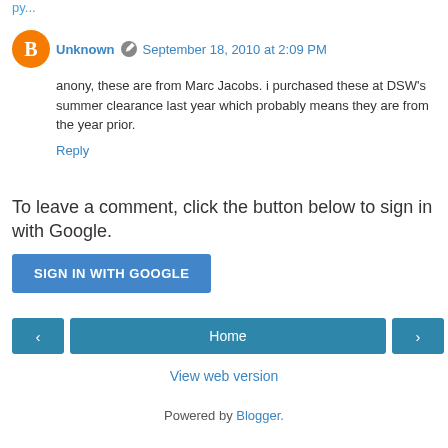Unknown  September 18, 2010 at 2:09 PM
anony, these are from Marc Jacobs. i purchased these at DSW's summer clearance last year which probably means they are from the year prior.
Reply
To leave a comment, click the button below to sign in with Google.
SIGN IN WITH GOOGLE
Home
View web version
Powered by Blogger.